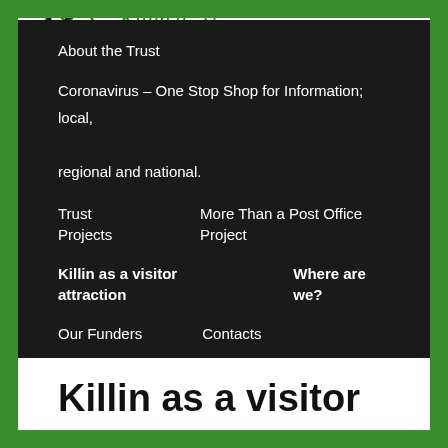[Figure (logo): Killin and Ardeonaig Trust logo with mountain/cat silhouette in black and green, with italic green text 'Killin a...st']
About the Trust
Coronavirus – One Stop Shop for Information; local, regional and national.
Trust Projects    More Than a Post Office Project
Killin as a visitor attraction    Where are we?
Our Funders    Contacts
Killin as a visitor